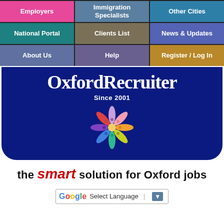[Figure (screenshot): Navigation grid with 9 colored cells: Employers (pink), Immigration Specialists (slate blue), Other Cities (teal blue), National Portal (teal), Clients List (olive), News & Updates (purple blue), About Us (steel), Help (steel2), Register / Log In (gold)]
OxfordRecruiter
Since 2001
[Figure (logo): Colorful pinwheel/flower logo with figures around a center]
the smart solution for Oxford jobs
Select Language